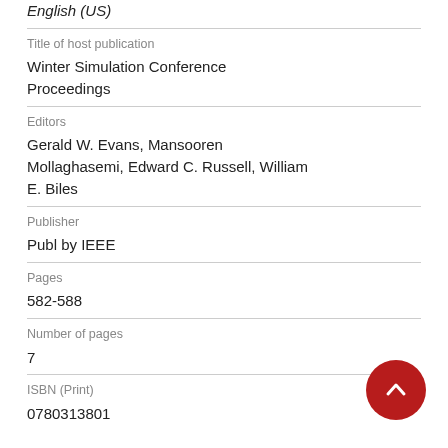English (US)
Title of host publication
Winter Simulation Conference Proceedings
Editors
Gerald W. Evans, Mansooren Mollaghasemi, Edward C. Russell, William E. Biles
Publisher
Publ by IEEE
Pages
582-588
Number of pages
7
ISBN (Print)
0780313801